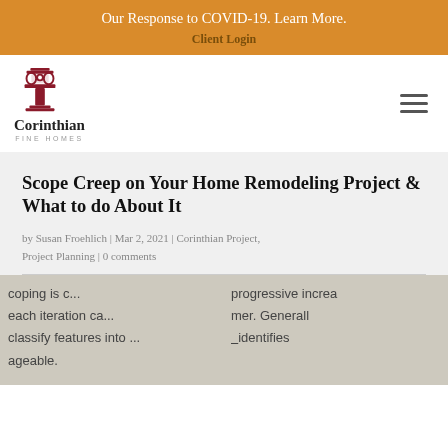Our Response to COVID-19. Learn More.
Client Login
[Figure (logo): Corinthian Fine Homes logo with a decorative column capital icon above the text 'Corinthian' and 'FINE HOMES']
Scope Creep on Your Home Remodeling Project & What to do About It
by Susan Froehlich | Mar 2, 2021 | Corinthian Project, Project Planning | 0 comments
[Figure (photo): Close-up photo of a printed document with partial text visible: 'coping is c...', 'each iteration ca...', 'classify features into ...', 'ageable.', 'progressive increa', 'mer. General', 'identifies']